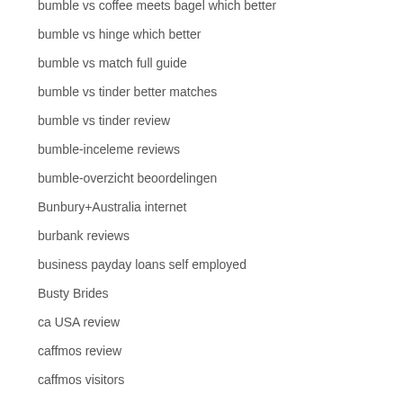bumble vs coffee meets bagel which better
bumble vs hinge which better
bumble vs match full guide
bumble vs tinder better matches
bumble vs tinder review
bumble-inceleme reviews
bumble-overzicht beoordelingen
Bunbury+Australia internet
burbank reviews
business payday loans self employed
Busty Brides
ca USA review
caffmos review
caffmos visitors